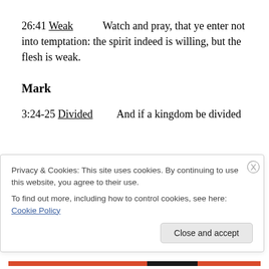26:41 Weak   Watch and pray, that ye enter not into temptation: the spirit indeed is willing, but the flesh is weak.
Mark
3:24-25 Divided   And if a kingdom be divided
Privacy & Cookies: This site uses cookies. By continuing to use this website, you agree to their use.
To find out more, including how to control cookies, see here: Cookie Policy